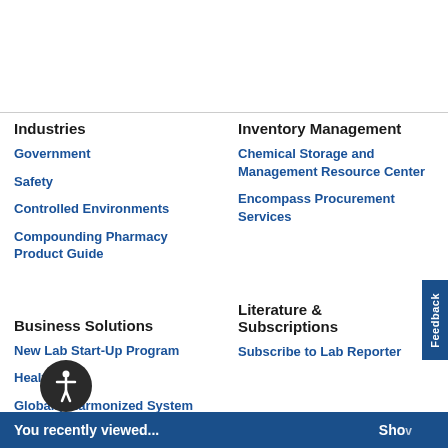Industries
Government
Safety
Controlled Environments
Compounding Pharmacy Product Guide
Inventory Management
Chemical Storage and Management Resource Center
Encompass Procurement Services
Business Solutions
New Lab Start-Up Program
HealthPRO
Globally Harmonized System
Sustainability Program
Pandemic Resources
Literature & Subscriptions
Subscribe to Lab Reporter
You recently viewed...   Show